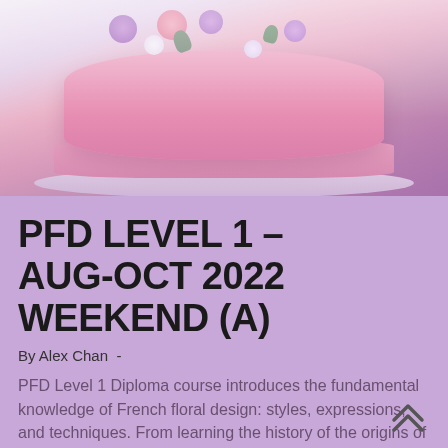[Figure (photo): A pink fondant cake decorated with purple and white flowers on a white plate, partially cut to show layers, photographed from slightly above.]
PFD LEVEL 1 – AUG-OCT 2022 WEEKEND (A)
By Alex Chan  -
PFD Level 1 Diploma course introduces the fundamental knowledge of French floral design: styles, expressions, and techniques. From learning the history of the origins of French floral designs, to the nature of flowers, to the combination of colours, to